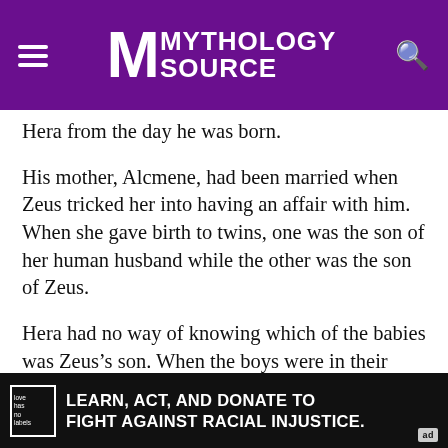Mythology Source
Hera from the day he was born.
His mother, Alcmene, had been married when Zeus tricked her into having an affair with him. When she gave birth to twins, one was the son of her human husband while the other was the son of Zeus.
Hera had no way of knowing which of the babies was Zeus’s son. When the boys were in their cradle together, she sent a serpent to kill them.
Iphicles began crying, but his twin brother grabbed the snake and strangled it. Heracles had proven which of the infants was a child of Zeus.
[Figure (other): Advertisement banner: 'Learn, Act, and Donate to Fight Against Racial Injustice.' with Love Has No Labels logo and ad badge]